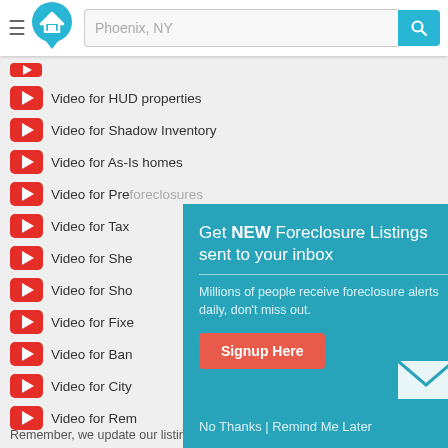Phoenix, NY
Video for HUD properties
Video for Shadow Inventory
Video for As-Is homes
Video for Preforeclosures
Video for Tax...
Video for She...
Video for Sho...
Video for Fixe...
Video for Ban...
Video for City...
Video for Rem...
[Figure (screenshot): Popup overlay: Get NEW Foreclosure Listings sent to your inbox. Millions of people receive foreclosure alerts daily, don't miss out. Signup Here | No Thanks | Remind Me Later]
Remember, we update our listings often, so be sure to check back daily!